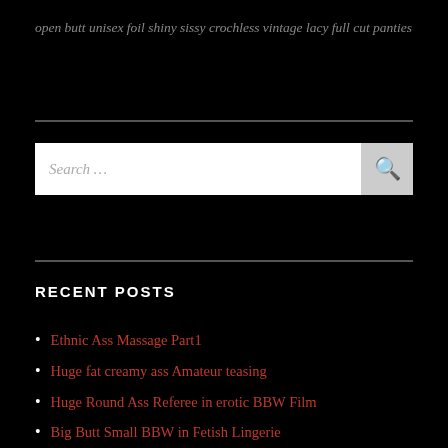open butt unisex foil shiny sissy crochless vintage lacy full cut panties
RECENT POSTS
Ethnic Ass Massage Part1
Huge fat creamy ass Amateur teasing
Huge Round Ass Referee in erotic BBW Film
Big Butt Small BBW in Fetish Lingerie
Gangster